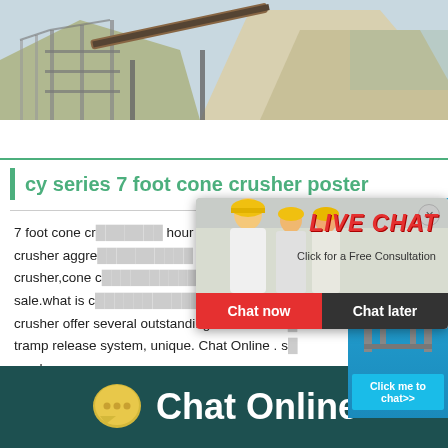[Figure (photo): Aerial view of a stone crushing plant with conveyor belts, scaffolding, and aggregate piles]
cy series 7 foot cone crusher poster
7 foot cone crusher ... hour online crusher aggre... crusher,cone c... sale.what is cone crusher tramping. cone crusher offer several outstanding features such... tramp release system, unique. Chat Online . s... crusher ...
[Figure (screenshot): Live chat popup with workers in hard hats, LIVE CHAT heading, Click for a Free Consultation text, Chat now and Chat later buttons]
[Figure (screenshot): Right side panel with blue background showing a cone crusher machine and Click me to chat>> button]
Chat Online